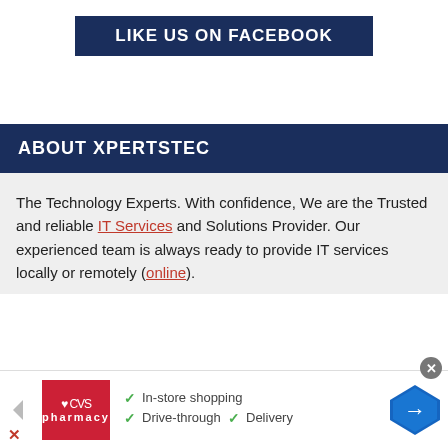LIKE US ON FACEBOOK
ABOUT XPERTSTEC
The Technology Experts. With confidence, We are the Trusted and reliable IT Services and Solutions Provider. Our experienced team is always ready to provide IT services locally or remotely (online).
[Figure (infographic): CVS Pharmacy advertisement banner showing logo, checkmarks for In-store shopping, Drive-through, and Delivery, with navigation arrow icon]